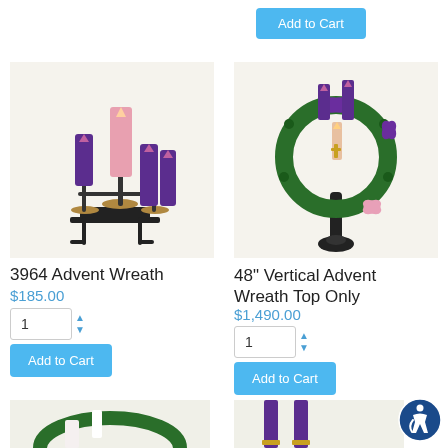[Figure (other): Partial Add to Cart button from previous product listing]
[Figure (photo): 3964 Advent Wreath with 4 candles (3 purple, 1 pink) on black metal stand]
3964 Advent Wreath
$185.00
[Figure (photo): 48 inch Vertical Advent Wreath Top Only with purple and pink candles, green wreath decorated with purple bows]
48" Vertical Advent Wreath Top Only
$1,490.00
[Figure (photo): Partial bottom product image - appears to be an arch/wreath with figure]
[Figure (photo): Partial bottom product image - candles with gold holders]